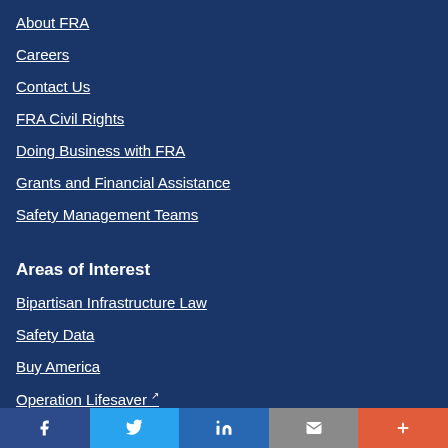About FRA
Careers
Contact Us
FRA Civil Rights
Doing Business with FRA
Grants and Financial Assistance
Safety Management Teams
Areas of Interest
Bipartisan Infrastructure Law
Safety Data
Buy America
Operation Lifesaver ↗
f  🐦  in  ✉  +